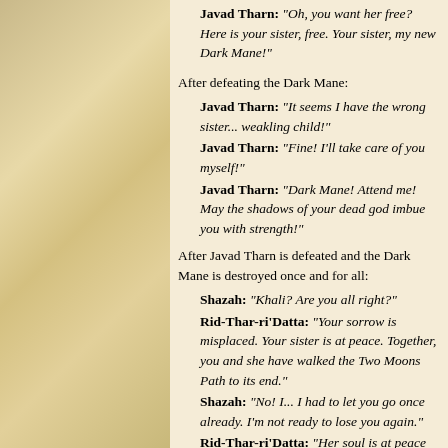Javad Tharn: "Oh, you want her free? Here is your sister, free. Your sister, my new Dark Mane!"
After defeating the Dark Mane:
Javad Tharn: "It seems I have the wrong sister... weakling child!"
Javad Tharn: "Fine! I'll take care of you myself!"
Javad Tharn: "Dark Mane! Attend me! May the shadows of your dead god imbue you with strength!"
After Javad Tharn is defeated and the Dark Mane is destroyed once and for all:
Shazah: "Khali? Are you all right?"
Rid-Thar-ri'Datta: "Your sorrow is misplaced. Your sister is at peace. Together, you and she have walked the Two Moons Path to its end."
Shazah: "No! I... I had to let you go once already. I'm not ready to lose you again."
Rid-Thar-ri'Datta: "Her soul is at peace now. She has traveled beyond the Path to